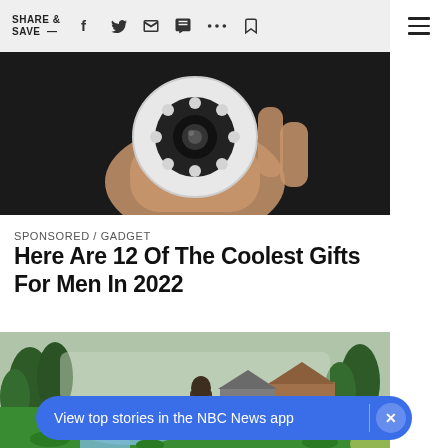SHARE & SAVE —
[Figure (photo): A hand holding a small circular security camera with multiple LED lights arranged around the lens, on a dark background.]
SPONSORED / GADGET
Here Are 12 Of The Coolest Gifts For Men In 2022
[Figure (screenshot): A video game scene showing a colorful outdoor village environment with grass, trees, wooden structures, a stone building, and a horse character in an anime/3D style.]
View top stories in the NBC News app